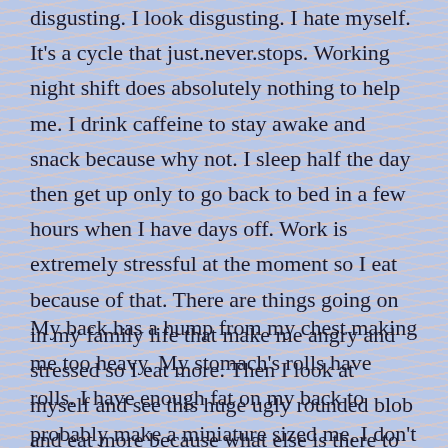disgusting. I look disgusting. I hate myself. It's a cycle that just.never.stops. Working night shift does absolutely nothing to help me. I drink caffeine to stay awake and snack because why not. I sleep half the day then get up only to go back to bed in a few hours when I have days off. Work is extremely stressful at the moment so I eat because of that. There are things going on in my family life that make me angry and stressed so I eat more. Then I look at myself and see this huge ugly rounded blob and eat more because what else is there to do.
My back has a hump from my chest making me too heavy. My stomach's rolls have rolls. I have enough fat on my back to probably make a miniature sized me. I don't like myself. I worry I'm being judged. By random